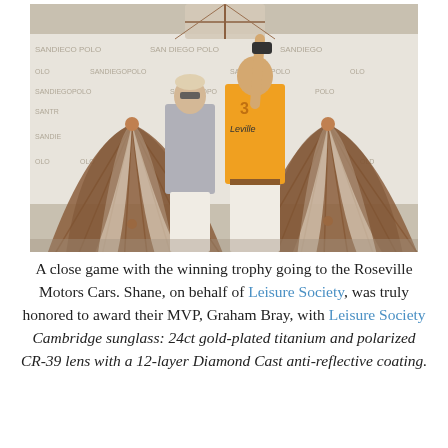[Figure (photo): Two men at a polo event. One wears a yellow polo shirt with number 3 and holds up a trophy overhead. The other stands beside him in a grey suit with sunglasses. In the foreground are two large brown-and-cream umbrellas. The background shows a sponsor banner reading San Diego Polo.]
A close game with the winning trophy going to the Roseville Motors Cars. Shane, on behalf of Leisure Society, was truly honored to award their MVP, Graham Bray, with Leisure Society Cambridge sunglass: 24ct gold-plated titanium and polarized CR-39 lens with a 12-layer Diamond Cast anti-reflective coating.